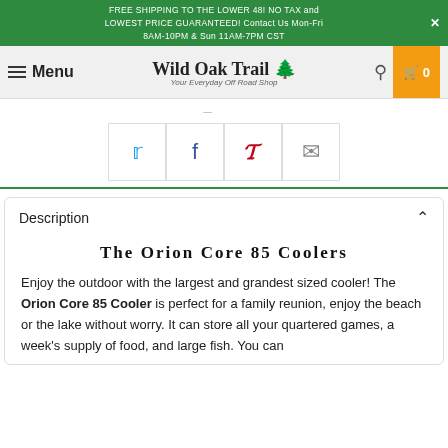FREE SHIPPING TO THE LOWER 48! NO TAX and LOWEST PRICE GUARANTEED! Contact Us Mon-Fri 8AM-10PM & Sun 11AM-7PM CST
Wild Oak Trail - Menu
Share / social buttons (Twitter, Facebook, Pinterest, Email)
Description
The Orion Core 85 Coolers
Enjoy the outdoor with the largest and grandest sized cooler! The Orion Core 85 Cooler is perfect for a family reunion, enjoy the beach or the lake without worry. It can store all your quartered games, a week's supply of food, and large fish. You can